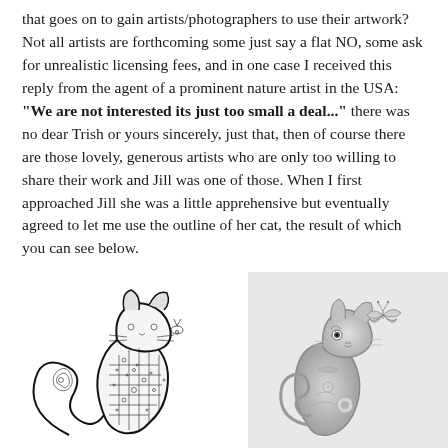that goes on to gain artists/photographers to use their artwork? Not all artists are forthcoming some just say a flat NO, some ask for unrealistic licensing fees, and in one case I received this reply from the agent of a prominent nature artist in the USA: "We are not interested its just too small a deal..." there was no dear Trish or yours sincerely, just that, then of course there are those lovely, generous artists who are only too willing to share their work and Jill was one of those. When I first approached Jill she was a little apprehensive but eventually agreed to let me use the outline of her cat, the result of which you can see below.
[Figure (illustration): Black and white zentangle/mandala style drawing of a stylized cat sitting upright, with intricate patterns filling the body]
[Figure (illustration): Greyscale drawing of a stylized decorative cat sitting upright with a butterfly, with smooth shading and decorative details]